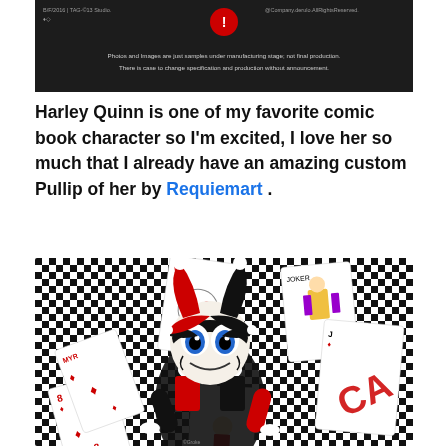[Figure (screenshot): Dark/black screenshot showing product disclaimer text: 'Photos and Images are just samples under manufacturing stage; not final production. There is case to change specification and production without announcement.' with social media style top bar showing username and share icon.]
Harley Quinn is one of my favorite comic book character so I'm excited, I love her so much that I already have an amazing custom Pullip of her by Requiemart .
[Figure (photo): Photo of a Harley Quinn custom Pullip doll with black and red jester hat with white pom poms, black eye mask, and pale face. The doll is lying among a spread of playing cards (including Joker cards and diamond cards) on a black and white checkered background.]